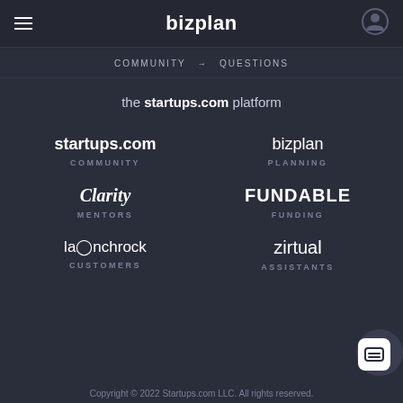bizplan
COMMUNITY → QUESTIONS
the startups.com platform
startups.com
COMMUNITY
bizplan
PLANNING
Clarity
MENTORS
FUNDABLE
FUNDING
launchrock
CUSTOMERS
zirtual
ASSISTANTS
Copyright © 2022 Startups.com LLC. All rights reserved.